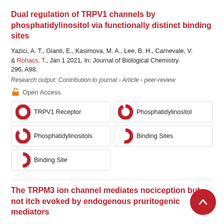Dual regulation of TRPV1 channels by phosphatidylinositol via functionally distinct binding sites
Yazici, A. T., Gianti, E., Kasimova, M. A., Lee, B. H., Carnevale, V. & Rohacs, T., Jan 1 2021, In: Journal of Biological Chemistry. 296, A98.
Research output: Contribution to journal › Article › peer-review
Open Access
TRPV1 Receptor
Phosphatidylinositol
Phosphatidylinositols
Binding Sites
Binding Site
The TRPM3 ion channel mediates nociception but not itch evoked by endogenous pruritogenic mediators
Kelemen, B., Pinto, S., Kim, N., Lisztes, E., Hanyicska, M.,